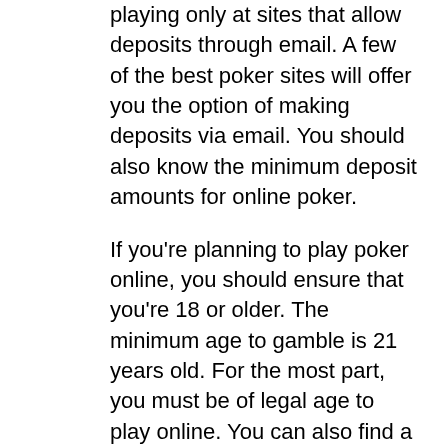playing only at sites that allow deposits through email. A few of the best poker sites will offer you the option of making deposits via email. You should also know the minimum deposit amounts for online poker.
If you're planning to play poker online, you should ensure that you're 18 or older. The minimum age to gamble is 21 years old. For the most part, you must be of legal age to play online. You can also find a great site that offers poker for a small fee. If you don't have enough money to pay for an online poker game, don't worry, you can always check out a live casino to play.
There are some countries where online poker is legal, but not all. Depending on your country's laws, you can play poker from your smartphone. Just be careful not to play on your phone in a